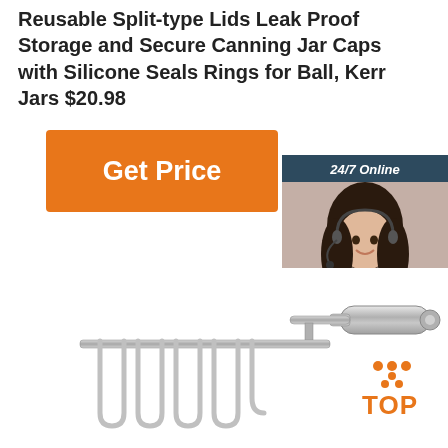Reusable Split-type Lids Leak Proof Storage and Secure Canning Jar Caps with Silicone Seals Rings for Ball, Kerr Jars $20.98
[Figure (other): Orange 'Get Price' button]
[Figure (other): 24/7 Online chat widget with customer service representative photo, 'Click here for free chat!' text, and orange QUOTATION button]
[Figure (other): Stainless steel potato masher kitchen tool product image]
[Figure (other): Orange 'TOP' button with dots above it]